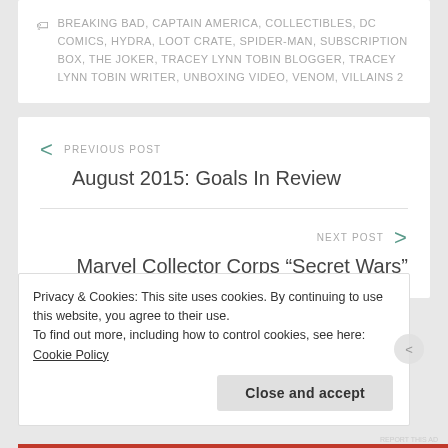BREAKING BAD, CAPTAIN AMERICA, COLLECTIBLES, DC COMICS, HYDRA, LOOT CRATE, SPIDER-MAN, SUBSCRIPTION BOX, THE JOKER, TRACEY LYNN TOBIN BLOGGER, TRACEY LYNN TOBIN WRITER, UNBOXING VIDEO, VENOM, VILLAINS 2
PREVIOUS POST
August 2015: Goals In Review
NEXT POST
Marvel Collector Corps “Secret Wars”
Privacy & Cookies: This site uses cookies. By continuing to use this website, you agree to their use.
To find out more, including how to control cookies, see here: Cookie Policy
Close and accept